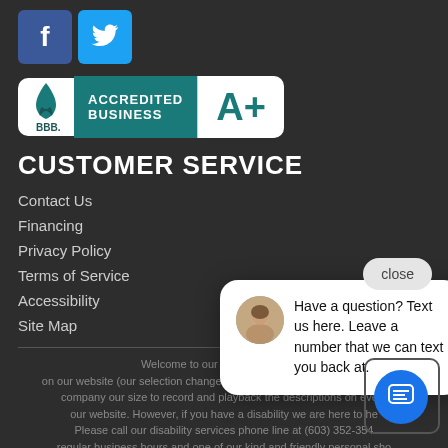[Figure (logo): Facebook icon (blue square with white f) and Twitter icon (light blue square with white bird)]
[Figure (logo): BBB Accredited Business A+ badge]
CUSTOMER SERVICE
Contact Us
Financing
Privacy Policy
Terms of Service
Accessibility
Site Map
Welcome to our w... on our website (our selection changes all of the time), it is not feasible for a company our size to record and playback the descriptions on every... our website. However, if you have a disability we are here to he... Please call our disability services phone line at (603) 352-3547... regular business hours and one of our kind and friendly personal sho... will help you navigate through our website, help conduct advanced... searches, help you choose the item you are looking about the...
Have a question? Text us here. Leave a number that we can text you back at.